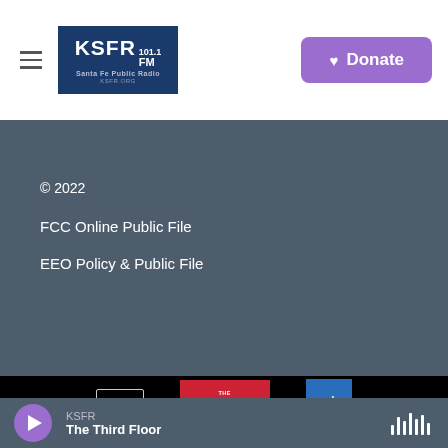[Figure (logo): KSFR 101.1 FM Santa Fe Public Radio logo in blue box]
[Figure (logo): Donate button with heart icon in purple]
© 2022
FCC Online Public File
EEO Policy & Public File
[Figure (logo): NPR logo]
[Figure (logo): Reva & David Logan Foundation logo in red]
[Figure (logo): CPB logo in blue]
KSFR
The Third Floor